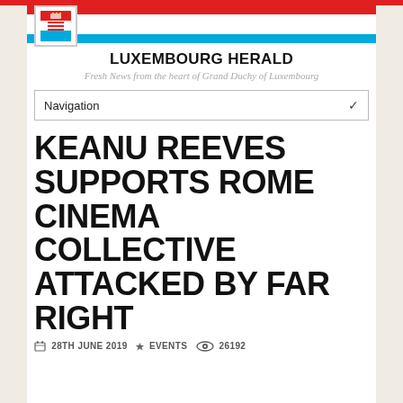[Figure (logo): Luxembourg Herald website header with flag banner (red, white, blue stripes) and coat of arms logo]
LUXEMBOURG HERALD
Fresh News from the heart of Grand Duchy of Luxembourg
Navigation
KEANU REEVES SUPPORTS ROME CINEMA COLLECTIVE ATTACKED BY FAR RIGHT
28TH JUNE 2019   EVENTS   26192